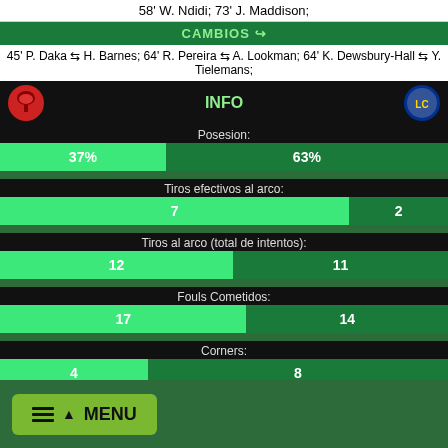58' W. Ndidi; 73' J. Maddison;
CAMBIOS
45' P. Daka ⇆ H. Barnes; 64' R. Pereira ⇆ A. Lookman; 64' K. Dewsbury-Hall ⇆ Y. Tielemans;
INFO
Posesion:
[Figure (bar-chart): Posesion]
Tiros efectivos al arco:
[Figure (bar-chart): Tiros efectivos al arco]
Tiros al arco (total de intentos):
[Figure (bar-chart): Tiros al arco (total de intentos)]
Fouls Cometidos:
[Figure (bar-chart): Fouls Cometidos]
Corners:
[Figure (bar-chart): Corners]